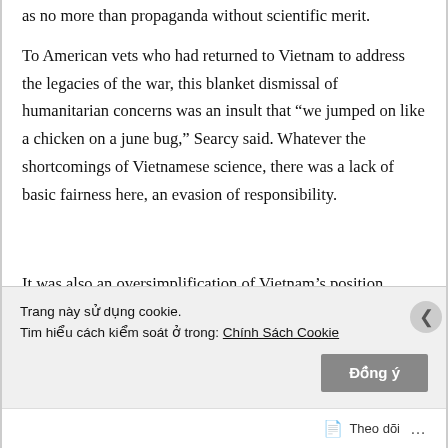as no more than propaganda without scientific merit.
To American vets who had returned to Vietnam to address the legacies of the war, this blanket dismissal of humanitarian concerns was an insult that “we jumped on like a chicken on a june bug,” Searcy said. Whatever the shortcomings of Vietnamese science, there was a lack of basic fairness here, an evasion of responsibility.
It was also an oversimplification of Vietnam’s position. Dang’s list embodied the sense of injustice felt by VAVA, the military and government agencies concerned with health, social welfare and the environment. But
Trang này sử dụng cookie.
Tim hiểu cách kiểm soát ở trong: Chính Sách Cookie
Đồng ý
Theo dõi